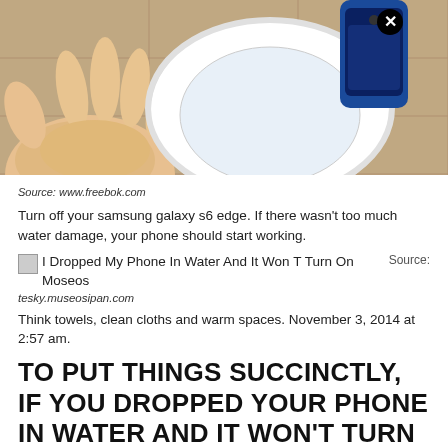[Figure (photo): Photo showing a hand under a toilet bowl with a smartphone resting on the edge, viewed from above, with a close/X button overlay icon]
Source: www.freebok.com
Turn off your samsung galaxy s6 edge. If there wasn't too much water damage, your phone should start working.
[Figure (photo): I Dropped My Phone In Water And It Won T Turn On Moseos — inline image placeholder with source label]
Source: tesky.museosipan.com
Think towels, clean cloths and warm spaces. November 3, 2014 at 2:57 am.
TO PUT THINGS SUCCINCTLY, IF YOU DROPPED YOUR PHONE IN WATER AND IT WON'T TURN ON, YOU'RE GOING TO NEED TO TAKE IT IN FOR REPAIR AS YOU MOST LIKELY HAVE A HARDWARE PROBLEM OR A